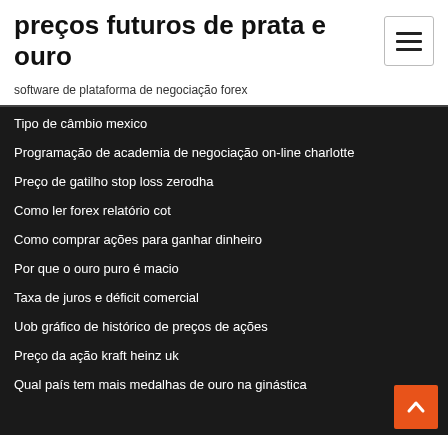preços futuros de prata e ouro
software de plataforma de negociação forex
Tipo de câmbio mexico
Programação de academia de negociação on-line charlotte
Preço de gatilho stop loss zerodha
Como ler forex relatório cot
Como comprar ações para ganhar dinheiro
Por que o ouro puro é macio
Taxa de juros e déficit comercial
Uob gráfico de histórico de preços de ações
Preço da ação kraft heinz uk
Qual país tem mais medalhas de ouro na ginástica